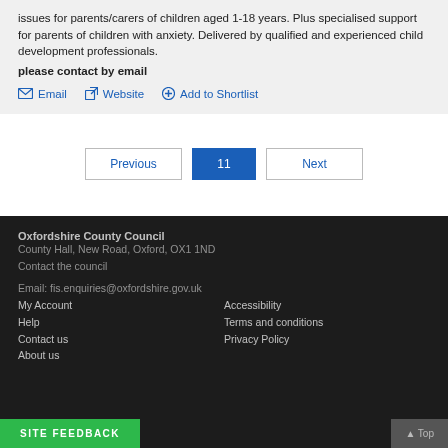issues for parents/carers of children aged 1-18 years. Plus specialised support for parents of children with anxiety. Delivered by qualified and experienced child development professionals.
please contact by email
Email   Website   Add to Shortlist
Previous  11  Next
Oxfordshire County Council
County Hall, New Road, Oxford, OX1 1ND
Contact the council

Email: fis.enquiries@oxfordshire.gov.uk
My Account  Accessibility
Help  Terms and conditions
Contact us  Privacy Policy
About us
Site feedback